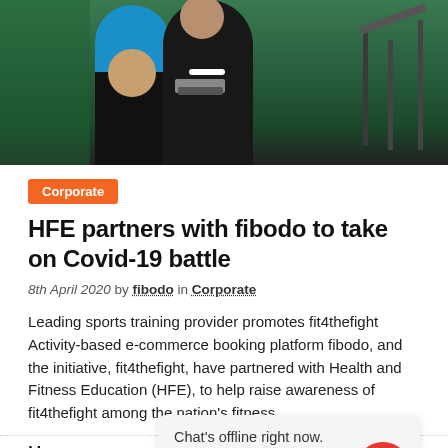[Figure (photo): Hero image of two people in a gym, one wearing a blue top and one wearing black, with gym equipment visible in background]
Corporate
HFE partners with fibodo to take on Covid-19 battle
8th April 2020  by  fibodo  in  Corporate
Leading sports training provider promotes fit4thefight Activity-based e-commerce booking platform fibodo, and the initiative, fit4thefight, have partnered with Health and Fitness Education (HFE), to help raise awareness of fit4thefight among the nation's fitness
More
Chat's offline right now.
Please leave a message.